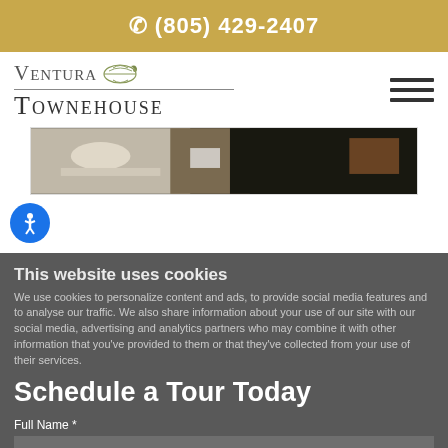☎ (805) 429-2407
[Figure (logo): Ventura Townehouse logo with leaf graphic and small-caps serif text]
[Figure (photo): Dark interior photo showing a desk with coffee cup and papers]
[Figure (infographic): Blue circular accessibility icon with person figure]
This website uses cookies
We use cookies to personalize content and ads, to provide social media features and to analyse our traffic. We also share information about your use of our site with our social media, advertising and analytics partners who may combine it with other information that you've provided to them or that they've collected from your use of their services.
Schedule a Tour Today
Full Name *
Deny   Allow all   Show details